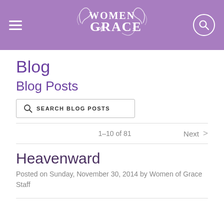Women of Grace — Blog
Blog
Blog Posts
SEARCH BLOG POSTS
1–10 of 81   Next >
Heavenward
Posted on Sunday, November 30, 2014 by Women of Grace Staff